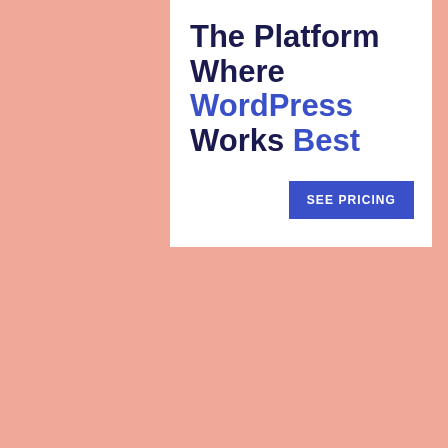[Figure (infographic): Advertisement banner with white background showing WordPress hosting promotion. Title reads 'The Platform Where WordPress Works Best' with a blue 'SEE PRICING' button.]
As you know, short chapters are my favorite and this book was PERFECT. Chapters that are only a few pages long make it SO easy to FLY through a book that was exactly what happened here. I also appreciated that this story was only told from only 2 alternating points of view. More than that and it would have been confusing. 2 was perfection.
As someone who lived in downtown Chicago for 8